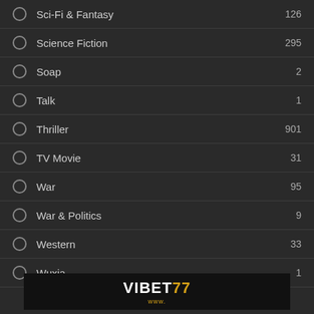Sci-Fi & Fantasy 126
Science Fiction 295
Soap 2
Talk 1
Thriller 901
TV Movie 31
War 95
War & Politics 9
Western 33
Wuxia 1
[Figure (logo): VIBET77 advertisement banner with golden text on black background]